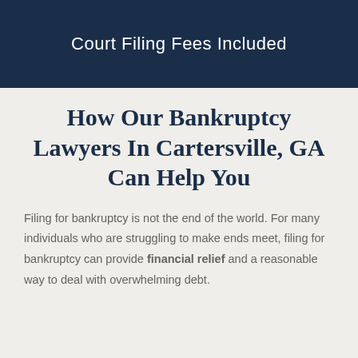Court Filing Fees Included
How Our Bankruptcy Lawyers In Cartersville, GA Can Help You
Filing for bankruptcy is not the end of the world. For many individuals who are struggling to make ends meet, filing for bankruptcy can provide financial relief and a reasonable way to deal with overwhelming debt.